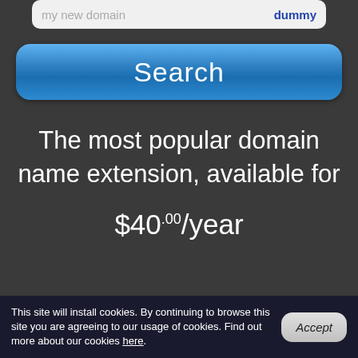[Figure (screenshot): Partial input field showing 'my new domain' text and 'dummy' on the right side]
[Figure (screenshot): Blue rounded Search button]
The most popular domain name extension, available for $40.00/year
This site will install cookies. By continuing to browse this site you are agreeing to our usage of cookies. Find out more about our cookies here.